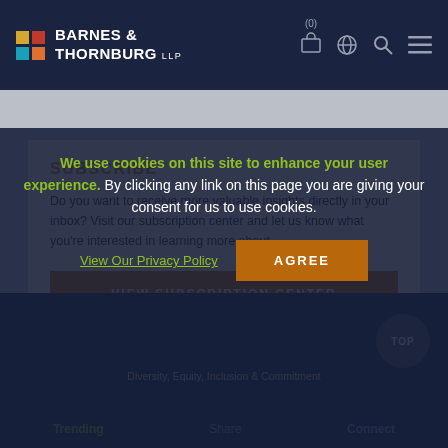Barnes & Thornburg LLP — navigation header with logo and icons
SUBSCRIBE
Do you want to receive more valuable insights directly in your inbox? Visit our subscription center and let us know what you're interested in learning more about.
VIEW SUBSCRIPTION CENTER
Page is loading...
We use cookies on this site to enhance your user experience. By clicking any link on this page you are giving your consent for us to use cookies.
View Our Privacy Policy
AGREE
Diversity, Equity, Inclusion & Commitment | Trending | Share | Connect | TOP